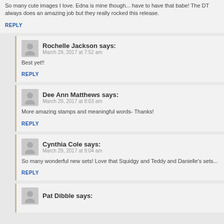So many cute images I love. Edna is mine though... have to have that babe! The DT always does an amazing job but they really rocked this release.
REPLY
Rochelle Jackson says: March 29, 2017 at 7:52 am
Best yet!!
REPLY
Dee Ann Matthews says: March 29, 2017 at 8:03 am
More amazing stamps and meaningful words- Thanks!
REPLY
Cynthia Cole says: March 29, 2017 at 8:04 am
So many wonderful new sets! Love that Squidgy and Teddy and Danielle's sets...
REPLY
Pat Dibble says: